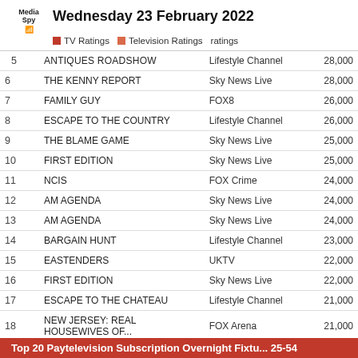Wednesday 23 February 2022 — TV Ratings | Television Ratings | ratings
| # | Show | Channel | Viewers |
| --- | --- | --- | --- |
| 5 | ANTIQUES ROADSHOW | Lifestyle Channel | 28,000 |
| 6 | THE KENNY REPORT | Sky News Live | 28,000 |
| 7 | FAMILY GUY | FOX8 | 26,000 |
| 8 | ESCAPE TO THE COUNTRY | Lifestyle Channel | 26,000 |
| 9 | THE BLAME GAME | Sky News Live | 25,000 |
| 10 | FIRST EDITION | Sky News Live | 25,000 |
| 11 | NCIS | FOX Crime | 24,000 |
| 12 | AM AGENDA | Sky News Live | 24,000 |
| 13 | AM AGENDA | Sky News Live | 24,000 |
| 14 | BARGAIN HUNT | Lifestyle Channel | 23,000 |
| 15 | EASTENDERS | UKTV | 22,000 |
| 16 | FIRST EDITION | Sky News Live | 22,000 |
| 17 | ESCAPE TO THE CHATEAU | Lifestyle Channel | 21,000 |
| 18 | NEW JERSEY: REAL HOUSEWIVES OF... | FOX Arena | 21,000 |
| 19 | BLUE BLOODS | FOX One | 20,000 |
| 20 | PAW PATROL | Nick Jr. | 20,000 |
Top 20 Paytelevision Subscription Overnight Fixtu... 25-54